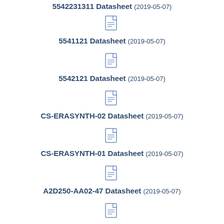5542231311 Datasheet (2019-05-07)
[Figure (other): PDF file icon]
5541121 Datasheet (2019-05-07)
[Figure (other): PDF file icon]
5542121 Datasheet (2019-05-07)
[Figure (other): PDF file icon]
CS-ERASYNTH-02 Datasheet (2019-05-07)
[Figure (other): PDF file icon]
CS-ERASYNTH-01 Datasheet (2019-05-07)
[Figure (other): PDF file icon]
A2D250-AA02-47 Datasheet (2019-05-07)
[Figure (other): PDF file icon]
26520-MB 26532-LED 26530-LED 26531-LED 26533-